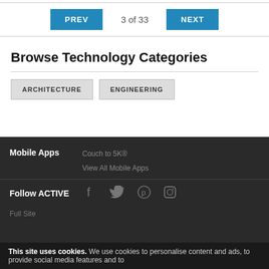PREV  3 of 33  NEXT
Browse Technology Categories
ARCHITECTURE
ENGINEERING
Mobile Apps
Couch to 5K®
View All Mobile Apps
Follow ACTIVE
Full Site
This site uses cookies. We use cookies to personalise content and ads, to provide social media features and to